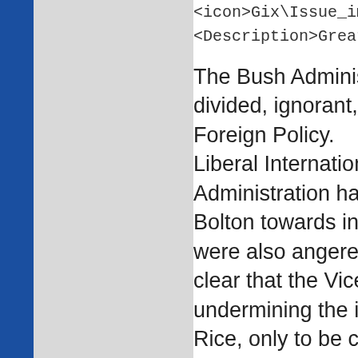<icon>Gix\Issue_Images\Issue_...
<Description>Greater Role for T...
The Bush Administration of 2001 divided, ignorant, incompetent a... Foreign Policy. Liberal Internationalists despaire... Administration hawks such as Di... Bolton towards institutions such ... were also angered by the Admin... clear that the Vice President's o... undermining the influence of the ... Rice, only to be checked in the a... Democrats and Realists amongs... overestimating the capabilities o... military power, to reshape the po... example of ideological hubris, po... curiosity. Whilst the Realists want to resto... concluding treaties, building coal...